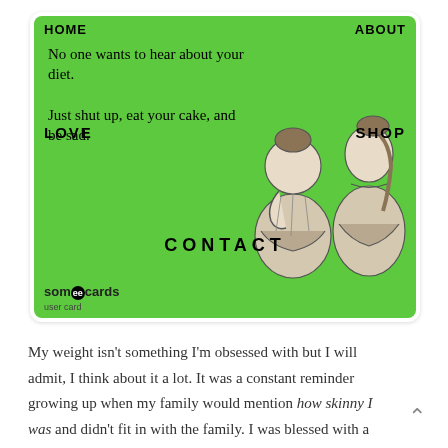[Figure (illustration): A someecards user card with green background. Text overlaid with navigation menu items reads: HOME, ABOUT (overlaid over 'No one wants to hear about your diet.'), LOVE, SHOP (overlaid over 'Just shut up, eat your cake, and be sad.'), CONTACT. Bottom left has someecards logo. Right side shows vintage illustration of two women in Victorian dress.]
My weight isn't something I'm obsessed with but I will admit, I think about it a lot. It was a constant reminder growing up when my family would mention how skinny I was and didn't fit in with the family. I was blessed with a high metabolism I guess. Where did that go?